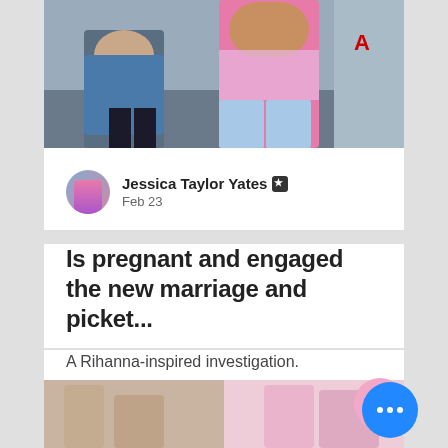[Figure (photo): Photo of two people: person on left wearing a blue denim jacket, person on right wearing a pink outfit with exposed midriff]
Jessica Taylor Yates ★
Feb 23
Is pregnant and engaged the new marriage and picket...
A Rihanna-inspired investigation.
[Figure (photo): Bottom strip showing partial image of people in a room with pink elements]